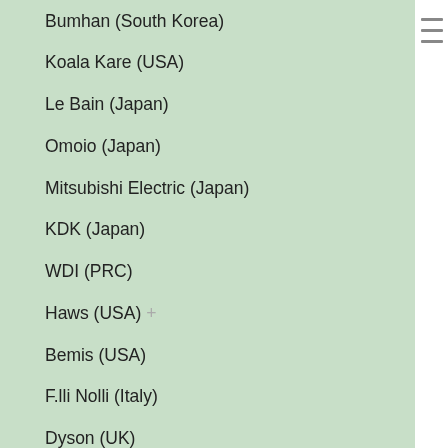Bumhan (South Korea)
Koala Kare (USA)
Le Bain (Japan)
Omoio (Japan)
Mitsubishi Electric (Japan)
KDK (Japan)
WDI (PRC)
Haws (USA) +
Bemis (USA)
F.lli Nolli (Italy)
Dyson (UK)
FastDry (Taiwan)
Blanco (Germany)
Idecor (PRC) +
Global (PRC) +